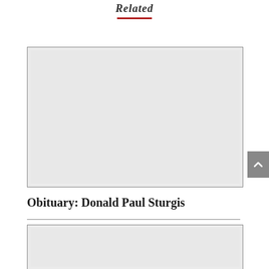Related
[Figure (photo): Large placeholder image box (light gray rectangle with border)]
Obituary: Donald Paul Sturgis
[Figure (photo): Smaller placeholder image box (light gray rectangle with border) partially visible]